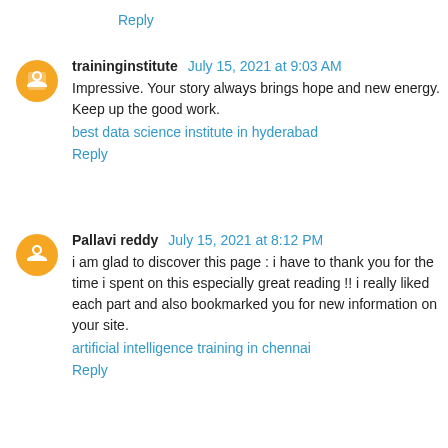Reply
traininginstitute July 15, 2021 at 9:03 AM
Impressive. Your story always brings hope and new energy. Keep up the good work.
best data science institute in hyderabad
Reply
Pallavi reddy July 15, 2021 at 8:12 PM
i am glad to discover this page : i have to thank you for the time i spent on this especially great reading !! i really liked each part and also bookmarked you for new information on your site.
artificial intelligence training in chennai
Reply